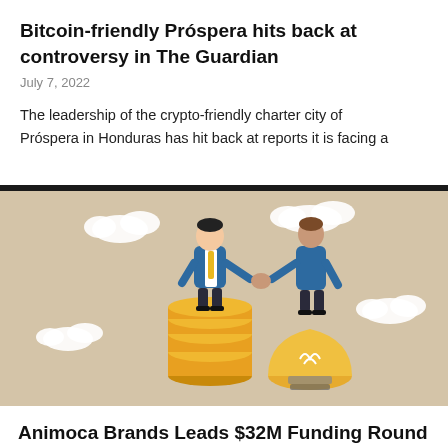Bitcoin-friendly Próspera hits back at controversy in The Guardian
July 7, 2022
The leadership of the crypto-friendly charter city of Próspera in Honduras has hit back at reports it is facing a
[Figure (illustration): Two businessmen shaking hands, one standing on a stack of gold coins and the other on a large lightbulb, with clouds in the background on a beige background]
Animoca Brands Leads $32M Funding Round for Planetarium Labs